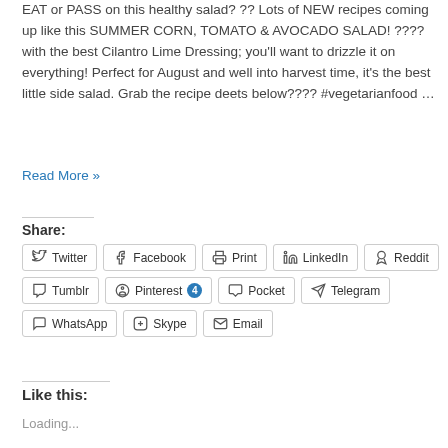EAT or PASS on this healthy salad? ?? Lots of NEW recipes coming up like this SUMMER CORN, TOMATO & AVOCADO SALAD! ???? with the best Cilantro Lime Dressing; you'll want to drizzle it on everything! Perfect for August and well into harvest time, it's the best little side salad. Grab the recipe deets below???? #vegetarianfood …
Read More »
Share:
Twitter Facebook Print LinkedIn Reddit Tumblr Pinterest 4 Pocket Telegram WhatsApp Skype Email
Like this:
Loading...